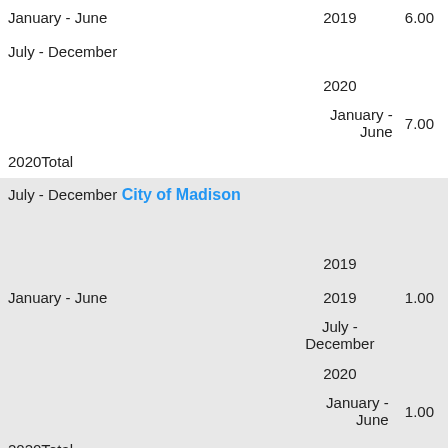| Period | Year/Period | Value |
| --- | --- | --- |
| January - June | 2019 | 6.00 |
| July - December |  |  |
|  | 2020 |  |
|  | January - June | 7.00 |
| 2020Total |  |  |
| July - December | City of Madison |  |
|  | 2019 |  |
| January - June | 2019 | 1.00 |
|  | July - December |  |
|  | 2020 |  |
|  | January - June | 1.00 |
| 2020Total |  |  |
| July - December | Fresh Start Coalition |  |
|  | 2019 | 1.00 |
| January - June |  |  |
|  | 2019 |  |
|  | July - December | 2020 |
|  | January - June | 1.00 |